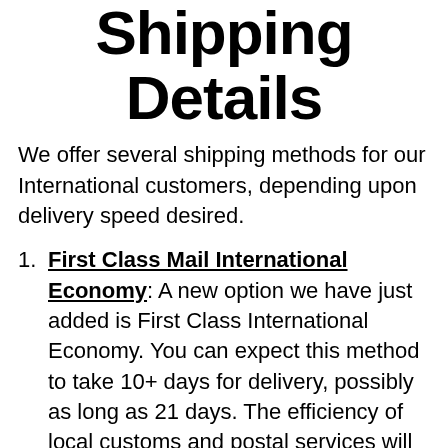Shipping Details
We offer several shipping methods for our International customers, depending upon delivery speed desired.
First Class Mail International Economy: A new option we have just added is First Class International Economy. You can expect this method to take 10+ days for delivery, possibly as long as 21 days. The efficiency of local customs and postal services will have a bearing on delivery times. We tested this service to an address in Canada and the package was delivered in 10 days. As we make more shipments to various countries